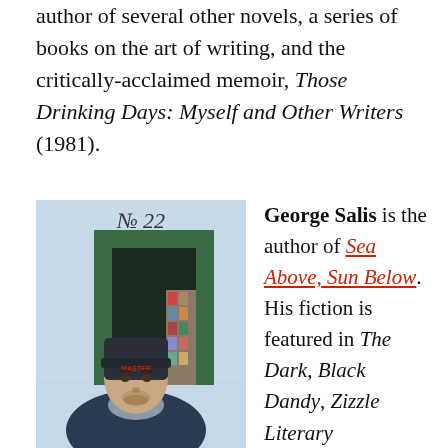author of several other novels, a series of books on the art of writing, and the critically-acclaimed memoir, Those Drinking Days: Myself and Other Writers (1981).
[Figure (photo): Photo of George Salis, a young man wearing a dark beanie hat and jacket, standing in front of a blue building with a green doorway marked 'No 22' in stylized script.]
George Salis is the author of Sea Above, Sun Below. His fiction is featured in The Dark, Black Dandy, Zizzle Literary